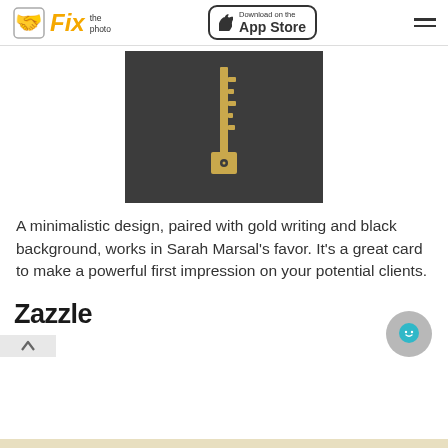Fix the photo | Download on the App Store
[Figure (photo): A gold key lying on a dark/black background, minimalistic style, photographed from above]
A minimalistic design, paired with gold writing and black background, works in Sarah Marsal's favor. It's a great card to make a powerful first impression on your potential clients.
Zazzle